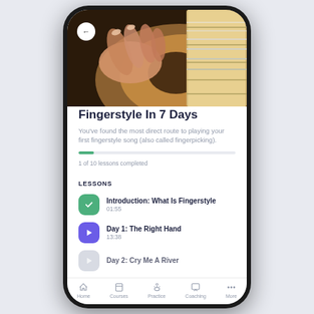[Figure (screenshot): Mobile app screenshot showing a guitar learning course titled 'Fingerstyle In 7 Days' with lesson list and bottom navigation bar. A guitar close-up photo appears at the top.]
Fingerstyle In 7 Days
You've found the most direct route to playing your first fingerstyle song (also called fingerpicking).
1 of 10 lessons completed
LESSONS
Introduction: What Is Fingerstyle
01:55
Day 1: The Right Hand
13:38
Day 2: Cry Me A River